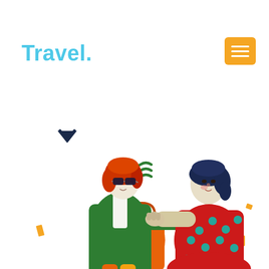Travel.
[Figure (illustration): A flat-style illustration of two women facing each other as if meeting or greeting. Left figure has red hair, sunglasses, and wears a green jacket with orange shopping bag. Right figure has dark blue hair and wears a red dress with teal polka-dot pattern. Both have arms extended toward each other. Decorative elements include a dark navy chevron/down-arrow icon, a green wavy approximate-equals symbol, small orange rectangles scattered around, and a golden/amber rectangle in the top-right corner with three white horizontal lines (hamburger menu icon).]